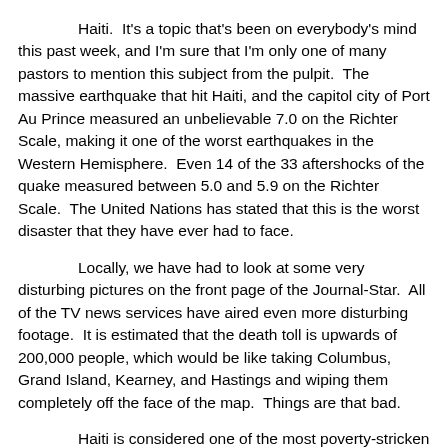Haiti.  It's a topic that's been on everybody's mind this past week, and I'm sure that I'm only one of many pastors to mention this subject from the pulpit.  The massive earthquake that hit Haiti, and the capitol city of Port Au Prince measured an unbelievable 7.0 on the Richter Scale, making it one of the worst earthquakes in the Western Hemisphere.  Even 14 of the 33 aftershocks of the quake measured between 5.0 and 5.9 on the Richter Scale.  The United Nations has stated that this is the worst disaster that they have ever had to face.
Locally, we have had to look at some very disturbing pictures on the front page of the Journal-Star.  All of the TV news services have aired even more disturbing footage.  It is estimated that the death toll is upwards of 200,000 people, which would be like taking Columbus, Grand Island, Kearney, and Hastings and wiping them completely off the face of the map.  Things are that bad.
Haiti is considered one of the most poverty-stricken countries in the entire world, which is hard to imagine.  There are no building codes in force there, so many of the structures were very poorly built, some even on top of one